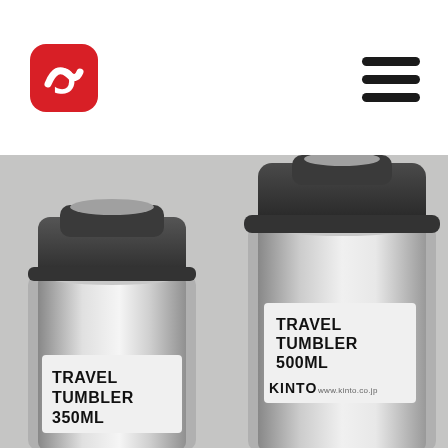[Figure (logo): Red rounded square logo with a white stylized letter or arrow shape inside]
[Figure (illustration): Hamburger menu icon — three thick horizontal dark bars]
[Figure (photo): Product photo of two stainless steel travel tumblers with dark caps, labeled TRAVEL TUMBLER 350ML and TRAVEL TUMBLER 500ML with KINTO branding, on a gray background]